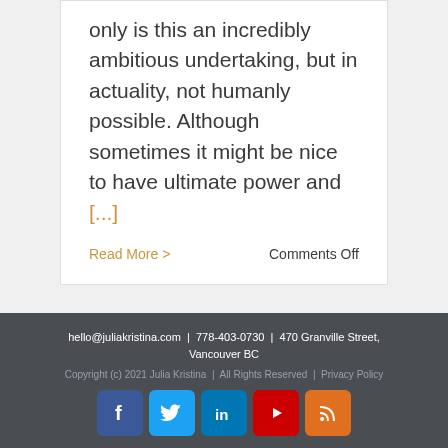only is this an incredibly ambitious undertaking, but in actuality, not humanly possible. Although sometimes it might be nice to have ultimate power and [...]
Read More >    Comments Off
hello@juliakristina.com | 778-403-0730 | 470 Granville Street, Vancouver BC
Copyright (c) 2021 Julia Kristina | All Rights Reserved | Privacy Policy